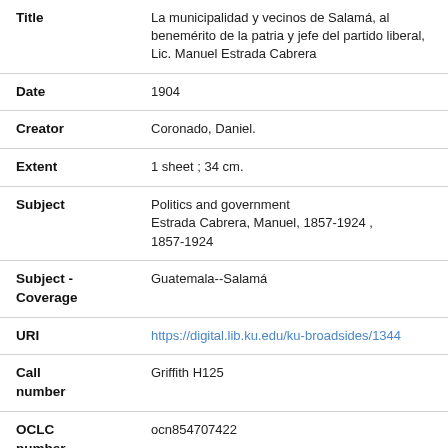| Field | Value |
| --- | --- |
| Title | La municipalidad y vecinos de Salamá, al benemérito de la patria y jefe del partido liberal, Lic. Manuel Estrada Cabrera |
| Date | 1904 |
| Creator | Coronado, Daniel. |
| Extent | 1 sheet ; 34 cm. |
| Subject | Politics and government
Estrada Cabrera, Manuel, 1857-1924 , 1857-1924 |
| Subject - Coverage | Guatemala--Salamá |
| URI | https://digital.lib.ku.edu/ku-broadsides/1344 |
| Call number | Griffith H125 |
| OCLC number | ocn854707422 |